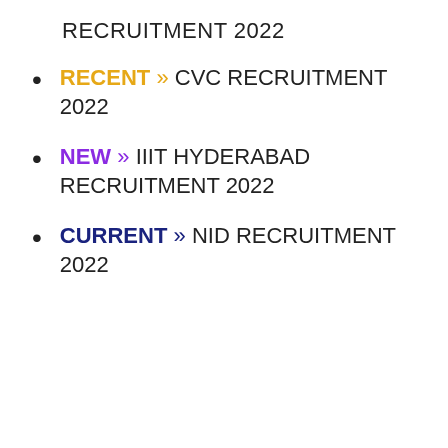RECRUITMENT 2022
RECENT » CVC RECRUITMENT 2022
NEW » IIIT HYDERABAD RECRUITMENT 2022
CURRENT » NID RECRUITMENT 2022